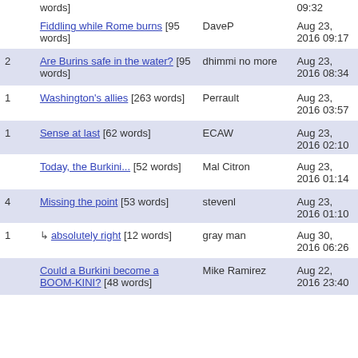| # | Title | Author | Date |
| --- | --- | --- | --- |
|  | Fiddling while Rome burns [95 words] | DaveP | Aug 23, 2016 09:17 |
| 2 | Are Burins safe in the water? [95 words] | dhimmi no more | Aug 23, 2016 08:34 |
| 1 | Washington's allies [263 words] | Perrault | Aug 23, 2016 03:57 |
| 1 | Sense at last [62 words] | ECAW | Aug 23, 2016 02:10 |
|  | Today, the Burkini... [52 words] | Mal Citron | Aug 23, 2016 01:14 |
| 4 | Missing the point [53 words] | stevenl | Aug 23, 2016 01:10 |
| 1 | ↳ absolutely right [12 words] | gray man | Aug 30, 2016 06:26 |
|  | Could a Burkini become a BOOM-KINI? [48 words] | Mike Ramirez | Aug 22, 2016 23:40 |